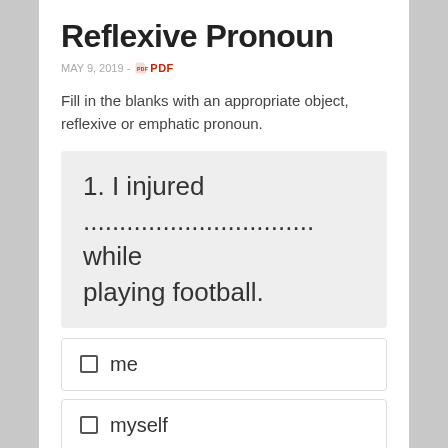Reflexive Pronoun
MAY 9, 2019 - PDF
Fill in the blanks with an appropriate object, reflexive or emphatic pronoun.
1. I injured ................................ while playing football.
me
myself